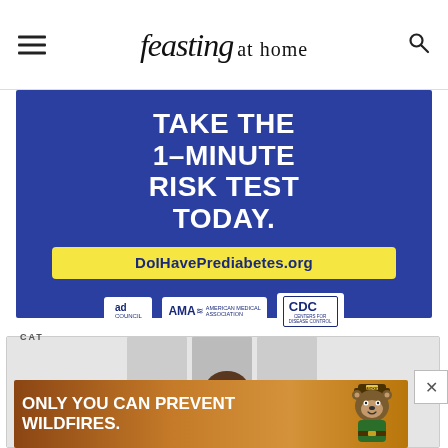feasting at home
[Figure (infographic): Blue background advertisement banner: 'TAKE THE 1-MINUTE RISK TEST TODAY.' with yellow URL box 'DoIHavePrediabetes.org' and logos for Ad Council, AMA, and CDC]
[Figure (photo): Partial photo of a person, appears to be in a kitchen or interior setting, partially obscured by overlaid banner ad]
CAT
[Figure (infographic): Brown/orange Smokey Bear advertisement: 'ONLY YOU CAN PREVENT WILDFIRES.' with Smokey Bear bear character on right]